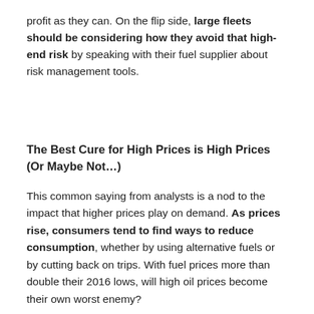profit as they can. On the flip side, large fleets should be considering how they avoid that high-end risk by speaking with their fuel supplier about risk management tools.
The Best Cure for High Prices is High Prices (Or Maybe Not…)
This common saying from analysts is a nod to the impact that higher prices play on demand. As prices rise, consumers tend to find ways to reduce consumption, whether by using alternative fuels or by cutting back on trips. With fuel prices more than double their 2016 lows, will high oil prices become their own worst enemy?
Back when prices were around $50/bbl, analysts…